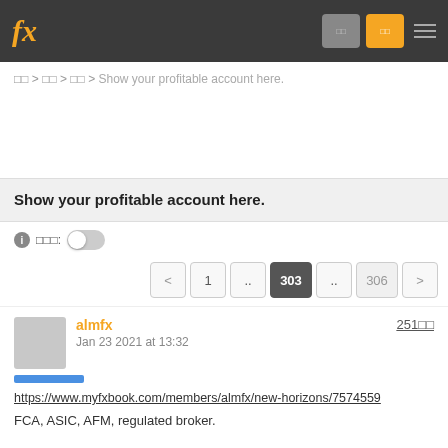fx [navigation buttons] [menu]
☰ > ☰ > ☰ > Show your profitable account here.
Show your profitable account here.
ℹ ☰☰☰: [toggle off]
< 1 .. 303 .. 306 >
almfx    Jan 23 2021 at 13:32    251☰☰
https://www.myfxbook.com/members/almfx/new-horizons/7574559
FCA, ASIC, AFM, regulated broker.